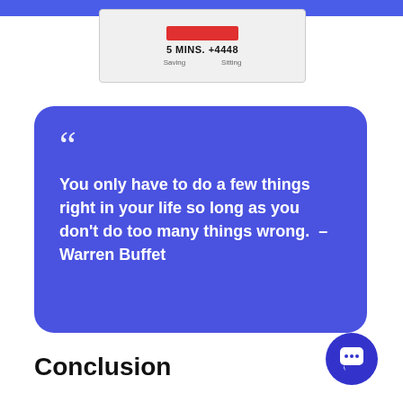[Figure (screenshot): Blurred screenshot showing '5 MINS. +4448' text with a red highlighted area at top]
You only have to do a few things right in your life so long as you don't do too many things wrong.  – Warren Buffet
Conclusion